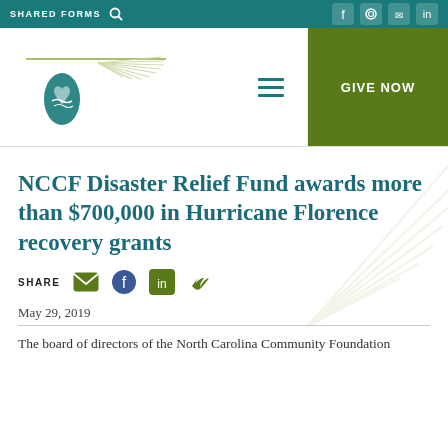NCCF | SHARE GIVE NOW
[Figure (logo): North Carolina Community Foundation logo with pine cone and branch graphic]
NCCF Disaster Relief Fund awards more than $700,000 in Hurricane Florence recovery grants
SHARE [email] [facebook] [linkedin] [twitter]
May 29, 2019
The board of directors of the North Carolina Community Foundation